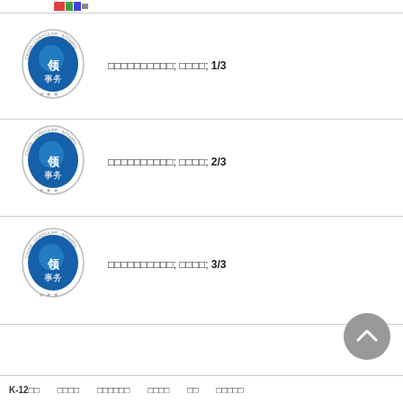[Figure (logo): Small colorful logo/icon in top bar area]
□□□□□□□□□□; □□□□; 1/3
[Figure (logo): China Consular Affairs circular seal logo (blue)]
□□□□□□□□□□; □□□□; 2/3
[Figure (logo): China Consular Affairs circular seal logo (blue)]
□□□□□□□□□□; □□□□; 3/3
[Figure (logo): China Consular Affairs circular seal logo (blue)]
K-12□□  □□□□  □□□□□□  □□□□  □□  □□□□□